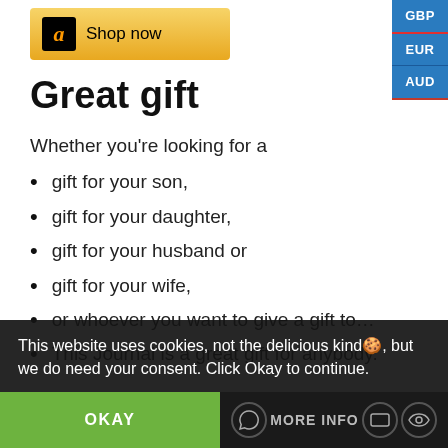[Figure (screenshot): Amazon 'Shop now' button with gold background and Amazon logo]
Great gift
Whether you’re looking for a
gift for your son,
gift for your daughter,
gift for your husband or
gift for your wife,
or whoever you want to give a gift to…
This Journal is a great gift for anybody.
This website uses cookies, not the delicious kind🍪, but we do need your consent. Click Okay to continue.